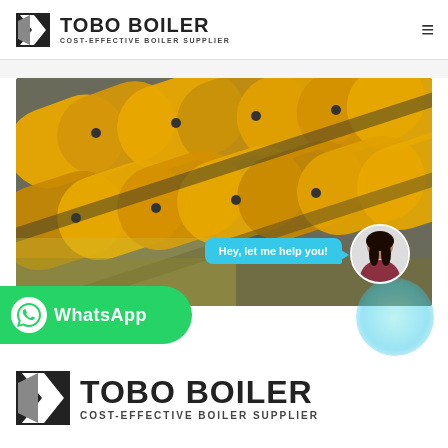[Figure (logo): Tobo Boiler logo with icon and text 'TOBO BOILER COST-EFFECTIVE BOILER SUPPLIER' in header]
[Figure (photo): Close-up photo of yellow industrial boiler tubes/pipes with bolts, blurred background]
Hey, let me help you!
[Figure (photo): WhatsApp button with green background, WhatsApp icon, and text 'WhatsApp']
[Figure (logo): Tobo Boiler bottom logo with large text 'TOBO BOILER COST-EFFECTIVE BOILER SUPPLIER']